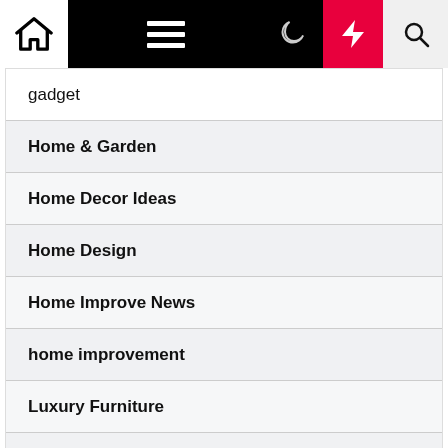Navigation bar with home, menu, moon, bolt, and search icons
gadget
Home & Garden
Home Decor Ideas
Home Design
Home Improve News
home improvement
Luxury Furniture
Remodeling
Wood Furniture